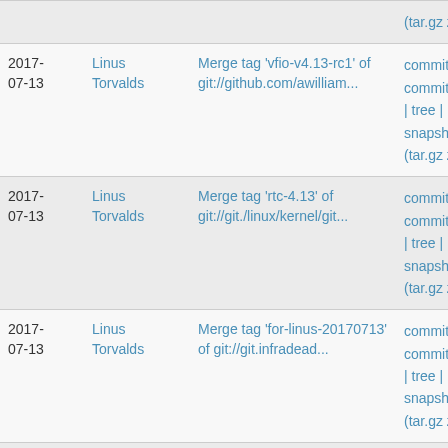| Date | Author | Commit message | Links |
| --- | --- | --- | --- |
|  |  | (tar.gz zip) |  |
| 2017-07-13 | Linus Torvalds | Merge tag 'vfio-v4.13-rc1' of git://github.com/awilliam... | commit | commitdiff | tree | snapshot (tar.gz zip) |
| 2017-07-13 | Linus Torvalds | Merge tag 'rtc-4.13' of git://git./linux/kernel/git... | commit | commitdiff | tree | snapshot (tar.gz zip) |
| 2017-07-13 | Linus Torvalds | Merge tag 'for-linus-20170713' of git://git.infradead... | commit | commitdiff | tree | snapshot (tar.gz zip) |
| 2017-07-13 | Linus Torvalds | Merge tag 'fbdev-v4.13' of git://github.com/bzolnier... | commit | commitdiff | tree | snapshot (tar.gz zip) |
| 2017- | Linus | Merge tag 'pwm/for-4.13-rc1' of | commit | |